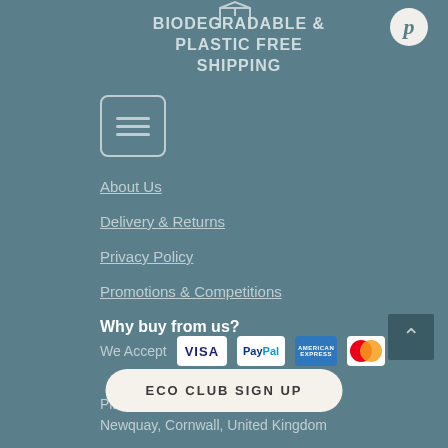[Figure (illustration): Biodegradable & Plastic Free Shipping icon with box outline at top center]
BIODEGRADABLE & PLASTIC FREE SHIPPING
[Figure (logo): Pinterest circle button icon]
[Figure (other): Hamburger menu icon in rounded rectangle border]
About Us
Delivery & Returns
Privacy Policy
Promotions & Competitions
Why buy from us?
We Accept
[Figure (other): Payment method icons: VISA, PayPal, American Express, Mastercard]
Plastics Free Ltd
Newquay, Cornwall, United Kingdom
[Figure (other): Scroll to top arrow button]
ECO CLUB SIGN UP